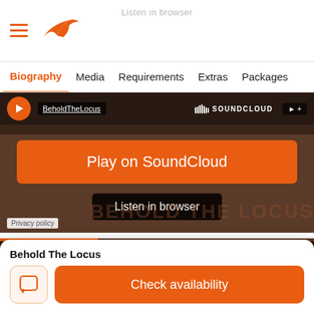Listen in browser
Biography  Media  Requirements  Extras  Packages
[Figure (screenshot): SoundCloud embedded player with orange play button overlay showing 'Play on SoundCloud' and 'Listen in browser' buttons, BeholdTheLocus user link visible]
[Figure (screenshot): Second SoundCloud embedded player with orange play button overlay showing 'Play on SoundCloud' button, BeholdTheLocus user link visible]
Behold The Locus
Check availability